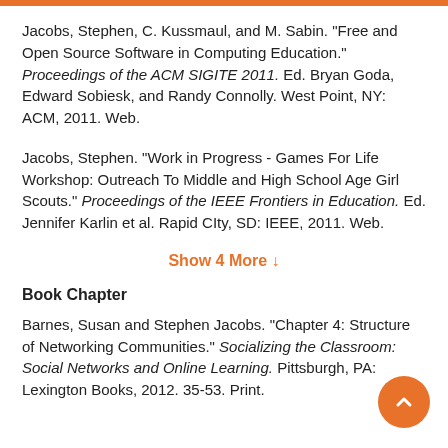Jacobs, Stephen, C. Kussmaul, and M. Sabin. "Free and Open Source Software in Computing Education." Proceedings of the ACM SIGITE 2011. Ed. Bryan Goda, Edward Sobiesk, and Randy Connolly. West Point, NY: ACM, 2011. Web.
Jacobs, Stephen. "Work in Progress - Games For Life Workshop: Outreach To Middle and High School Age Girl Scouts." Proceedings of the IEEE Frontiers in Education. Ed. Jennifer Karlin et al. Rapid CIty, SD: IEEE, 2011. Web.
Show 4 More ↓
Book Chapter
Barnes, Susan and Stephen Jacobs. "Chapter 4: Structure of Networking Communities." Socializing the Classroom: Social Networks and Online Learning. Pittsburgh, PA: Lexington Books, 2012. 35-53. Print.